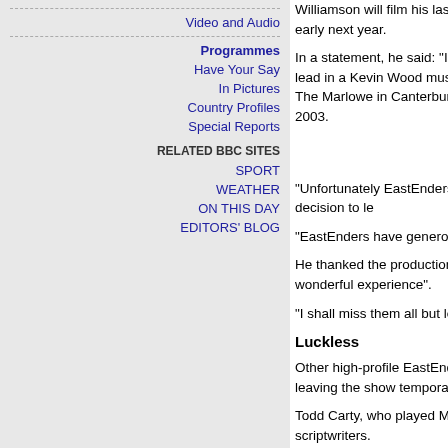Video and Audio
Programmes
Have Your Say
In Pictures
Country Profiles
Special Reports
RELATED BBC SITES
SPORT
WEATHER
ON THIS DAY
EDITORS' BLOG
Williamson will film his last scenes in November, which early next year.
In a statement, he said: "I have accepted the lead in a Kevin Wood musical pantomime at The Marlowe in Canterbury for Christmas 2003.
Shaun accept engagement at the which would clash commitment to Eas
BBC spokesman
"Unfortunately EastEnders contracts don't allow it so I have taken the decision to le
"EastEnders have generously extended my contract to November."
He thanked the production team and actors "for makings years such a wonderful experience".
"I shall miss them all but look forward to new challenges future," he added.
Luckless
Other high-profile EastEnders such as Barbara Windso McFadden are leaving the show temporarily to work in
Todd Carty, who played Mark Fowler, has left the Squar killed off by scriptwriters.
A BBC spokesman said: "Shaun accepted another enga end of this year which would clash with his commitment